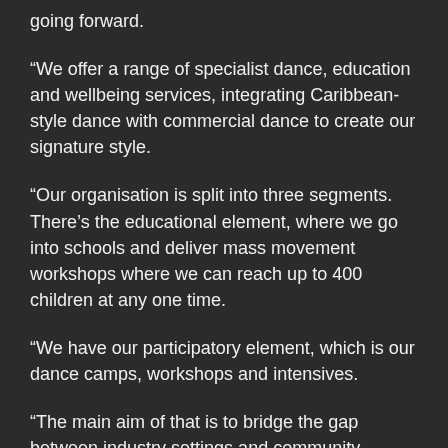going forward.
“We offer a range of specialist dance, education and wellbeing services, integrating Caribbean-style dance with commercial dance to create our signature style.
“Our organisation is split into three segments. There’s the educational element, where we go into schools and deliver mass movement workshops where we can reach up to 400 children at any one time.
“We have our participatory element, which is our dance camps, workshops and intensives.
“The main aim of that is to bridge the gap between industry settings and community settings – to level the playing field for those from marginalised backgrounds.
“We welcome beneficiaries from all walks of life, however